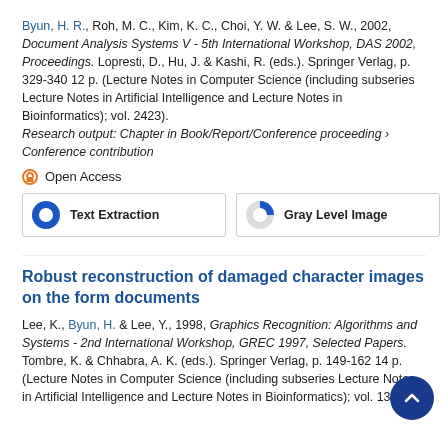Byun, H. R., Roh, M. C., Kim, K. C., Choi, Y. W. & Lee, S. W., 2002, Document Analysis Systems V - 5th International Workshop, DAS 2002, Proceedings. Lopresti, D., Hu, J. & Kashi, R. (eds.). Springer Verlag, p. 329-340 12 p. (Lecture Notes in Computer Science (including subseries Lecture Notes in Artificial Intelligence and Lecture Notes in Bioinformatics); vol. 2423). Research output: Chapter in Book/Report/Conference proceeding › Conference contribution
Open Access
[Figure (donut-chart): Two donut/circle badge indicators: 'Text Extraction' showing ~100% filled blue circle, 'Gray Level Image' showing ~35% filled segment]
Robust reconstruction of damaged character images on the form documents
Lee, K., Byun, H. & Lee, Y., 1998, Graphics Recognition: Algorithms and Systems - 2nd International Workshop, GREC 1997, Selected Papers. Tombre, K. & Chhabra, A. K. (eds.). Springer Verlag, p. 149-162 14 p. (Lecture Notes in Computer Science (including subseries Lecture Notes in Artificial Intelligence and Lecture Notes in Bioinformatics); vol. 1389).